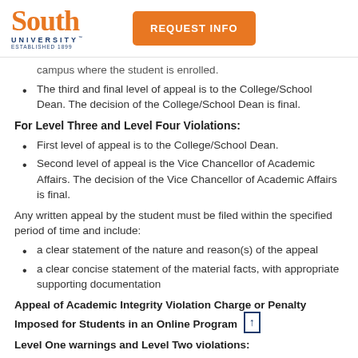[Figure (logo): South University logo with orange 'South' wordmark and navy 'UNIVERSITY' text]
[Figure (other): Orange 'REQUEST INFO' button]
campus where the student is enrolled.
The third and final level of appeal is to the College/School Dean.  The decision of the College/School Dean is final.
For Level Three and Level Four Violations:
First level of appeal is to the College/School Dean.
Second level of appeal is the Vice Chancellor of Academic Affairs. The decision of the Vice Chancellor of Academic Affairs is final.
Any written appeal by the student must be filed within the specified period of time and include:
a clear statement of the nature and reason(s) of the appeal
a clear concise statement of the material facts, with appropriate supporting documentation
Appeal of Academic Integrity Violation Charge or Penalty Imposed for Students in an Online Program
Level One warnings and Level Two violations: